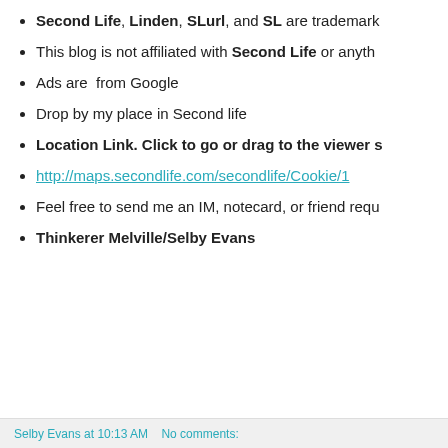Second Life, Linden, SLurl, and SL are trademark
This blog is not affiliated with Second Life or anyth
Ads are  from Google
Drop by my place in Second life
Location Link. Click to go or drag to the viewer s
http://maps.secondlife.com/secondlife/Cookie/1
Feel free to send me an IM, notecard, or friend requ
Thinkerer Melville/Selby Evans
Selby Evans at 10:13 AM   No comments: